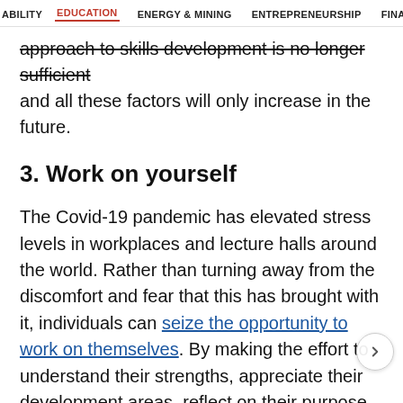ABILITY  EDUCATION  ENERGY & MINING  ENTREPRENEURSHIP  FINAN
approach to skills development is no longer sufficient and all these factors will only increase in the future.
3. Work on yourself
The Covid-19 pandemic has elevated stress levels in workplaces and lecture halls around the world. Rather than turning away from the discomfort and fear that this has brought with it, individuals can seize the opportunity to work on themselves. By making the effort to understand their strengths, appreciate their development areas, reflect on their purpose and articulate their personal and professional goals, individuals can put themselves on firmer ground as they look to reposition their careers going forward. Emba on with honesty and integrity, such an inward journe,